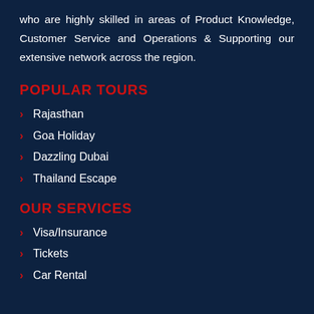who are highly skilled in areas of Product Knowledge, Customer Service and Operations & Supporting our extensive network across the region.
POPULAR TOURS
Rajasthan
Goa Holiday
Dazzling Dubai
Thailand Escape
OUR SERVICES
Visa/Insurance
Tickets
Car Rental